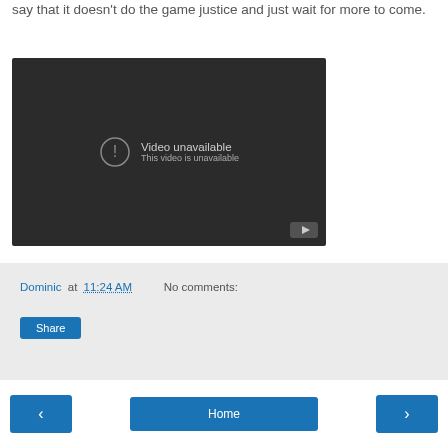say that it doesn't do the game justice and just wait for more to come.
[Figure (screenshot): Embedded video player showing 'Video unavailable - This video is unavailable' message with a YouTube logo in the bottom right corner on a dark background.]
Dominic at 11:24 AM    No comments:
Share
‹   Home   ›